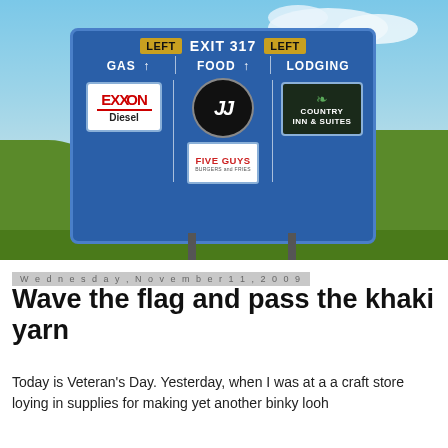[Figure (photo): Highway exit sign showing Exit 317 with LEFT direction badges, listing GAS (Exxon Diesel), FOOD (Jimmy John's, Five Guys), and LODGING (Country Inn & Suites), against a blue sky with green grassy hills background.]
Wednesday, November 11, 2009
Wave the flag and pass the khaki yarn
Today is Veteran's Day. Yesterday, when I was at a a craft store loying in supplies for making yet another binky looh